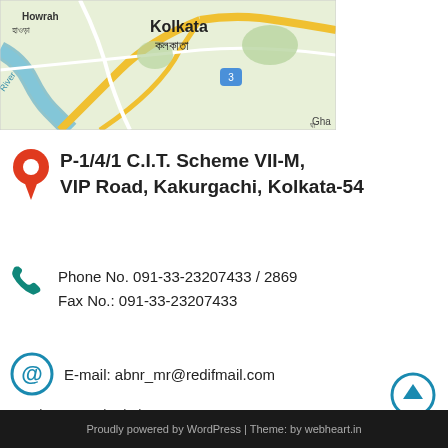[Figure (map): Google Maps showing Kolkata and Howrah area with roads and rivers]
P-1/4/1 C.I.T. Scheme VII-M, VIP Road, Kakurgachi, Kolkata-54
Phone No. 091-33-23207433 / 2869
Fax No.: 091-33-23207433
E-mail: abnr_mr@redifmail.com
Site: www.abnrkol.com
Proudly powered by WordPress | Theme: by webheart.in